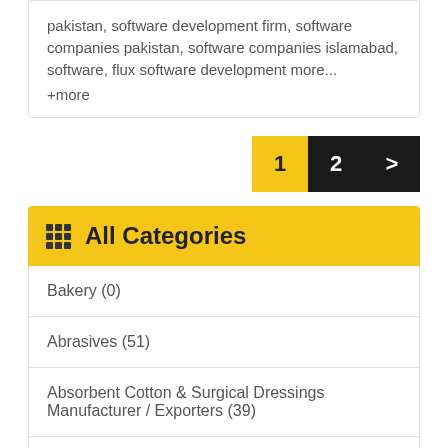pakistan, software development firm, software companies pakistan, software companies islamabad, software, flux software development more... +more
1 2 >
All Categories
Bakery (0)
Abrasives (51)
Absorbent Cotton & Surgical Dressings Manufacturer / Exporters (39)
Absorption Chillers Spares / Repairs (24)